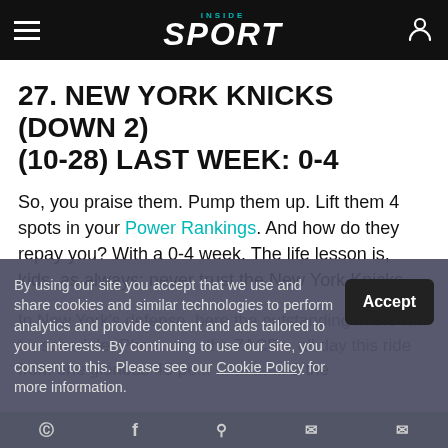Inside Sport
27. NEW YORK KNICKS (DOWN 2) (10-28) LAST WEEK: 0-4
So, you praise them. Pump them up. Lift them 4 spots in your Power Rankings. And how do they repay you? With a 0-4 week. The life lesson is, kids, as always: never trust the New York Knicks.
By using our site you accept that we use and share cookies and similar technologies to perform analytics and provide content and ads tailored to your interests. By continuing to use our site, you consent to this. Please see our Cookie Policy for more information.